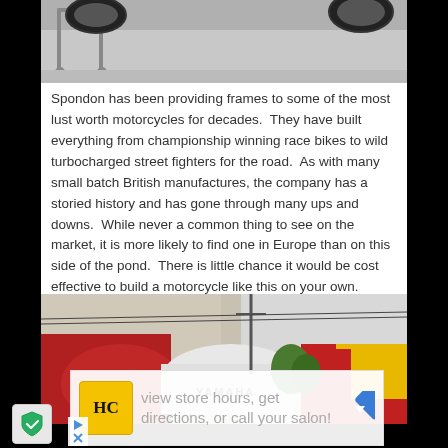[Figure (photo): Top portion of a motorcycle photo showing wheels and a metal stand on concrete pavement]
Spondon has been providing frames to some of the most lust worth motorcycles for decades.  They have built everything from championship winning race bikes to wild turbocharged street fighters for the road.  As with many small batch British manufactures, the company has a storied history and has gone through many ups and downs.  While never a common thing to see on the market, it is more likely to find one in Europe than on this side of the pond.  There is little chance it would be cost effective to build a motorcycle like this on your own.
[Figure (photo): Bottom portion showing motorcycles including a Yamaha with red, white, and yellow fairings parked near a building with utility poles in background]
[Figure (other): Advertisement overlay showing HC logo and text 'view store hours, get directions, or call your salon!' with a navigation arrow icon]